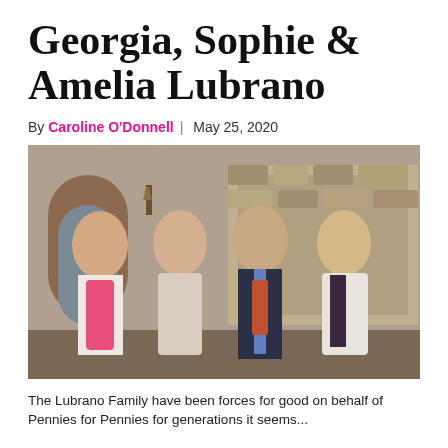Georgia, Sophie & Amelia Lubrano
By Caroline O'Donnell | May 25, 2020
[Figure (photo): Family photo of four people (three young women and a man in a suit) smiling together in front of a stone archway building at an outdoor event.]
The Lubrano Family have been forces for good on behalf of Pennies for Pennies for generations it seems...